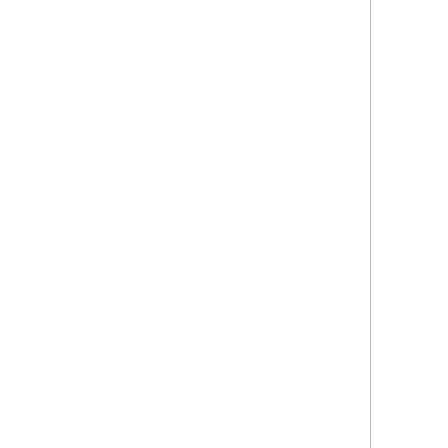actually, parsing and Initiated, are not guaranteed to be 100% accu... processing time.  Also, in... availability at job submis... at job processing time. Printer object might disco... were not detectable at joh...
- runtime errors in the
- nested document data t
- the URI reference is n... the document might be
- any other job processi
At job processing time, s... responded with a successfu... request, if the Printer ob... is unable to inform the e... status code.  In this cas... set the "job-state", "job-